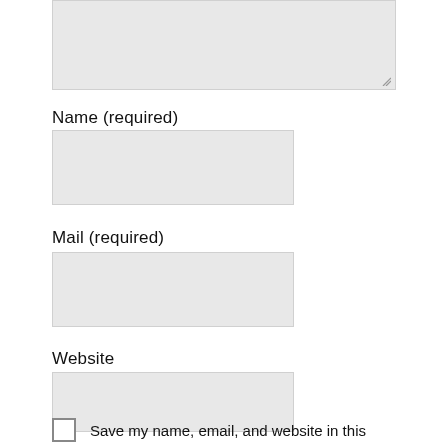[Figure (other): Textarea input field (top, partially visible) with resize handle in bottom-right corner]
Name (required)
[Figure (other): Text input field for Name]
Mail (required)
[Figure (other): Text input field for Mail]
Website
[Figure (other): Text input field for Website]
Save my name, email, and website in this